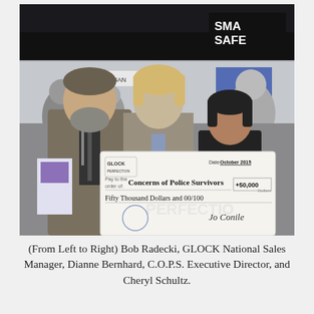[Figure (photo): Three people standing together at what appears to be a trade show or convention, holding a large ceremonial check. The check is from GLOCK Perfection, dated October 2015, made out to 'Concerns of Police Survivors' for $50,000 (Fifty Thousand Dollars and 00/100). In the background, a dark expo hall with signage including 'SMART SAFE' is visible. From left to right: a man in a suit with a beard (Bob Radecki), a woman with short blonde hair (Dianne Bernhard), and a shorter woman in dark clothing (Cheryl Schultz).]
(From Left to Right) Bob Radecki, GLOCK National Sales Manager, Dianne Bernhard, C.O.P.S. Executive Director, and Cheryl Schultz.